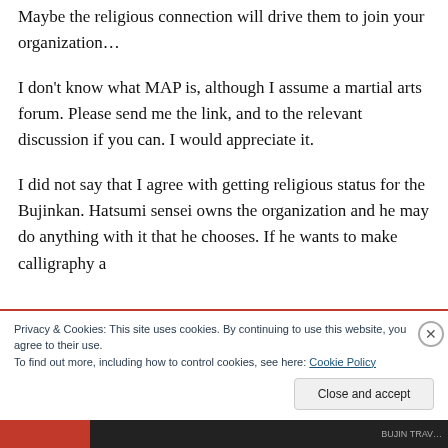Maybe the religious connection will drive them to join your organization…
I don't know what MAP is, although I assume a martial arts forum. Please send me the link, and to the relevant discussion if you can. I would appreciate it.
I did not say that I agree with getting religious status for the Bujinkan. Hatsumi sensei owns the organization and he may do anything with it that he chooses. If he wants to make calligraphy a
Privacy & Cookies: This site uses cookies. By continuing to use this website, you agree to their use.
To find out more, including how to control cookies, see here: Cookie Policy
Close and accept